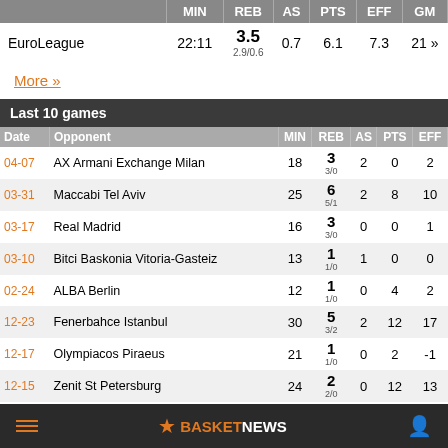|  | MIN | REB | AS | PTS | EFF | GM |
| --- | --- | --- | --- | --- | --- | --- |
| EuroLeague | 22:11 | 3.5
2.9/0.6 | 0.7 | 6.1 | 7.3 | 21 » |
More »
Last 10 games
| Date | Opponent | MIN | REB | AS | PTS | EFF |
| --- | --- | --- | --- | --- | --- | --- |
| 04-07 | AX Armani Exchange Milan | 18 | 3
3/0 | 2 | 0 | 2 |
| 03-31 | Maccabi Tel Aviv | 25 | 6
5/1 | 2 | 8 | 10 |
| 03-17 | Real Madrid | 16 | 3
3/0 | 0 | 0 | 1 |
| 03-10 | Bitci Baskonia Vitoria-Gasteiz | 13 | 1
1/0 | 1 | 0 | 0 |
| 02-24 | ALBA Berlin | 12 | 1
1/0 | 0 | 4 | 2 |
| 12-23 | Fenerbahce Istanbul | 30 | 5
3/2 | 2 | 12 | 17 |
| 12-17 | Olympiacos Piraeus | 21 | 1
1/0 | 0 | 2 | -1 |
| 12-15 | Zenit St Petersburg | 24 | 2
2/0 | 0 | 12 | 13 |
☰ BASKETNEWS 👤